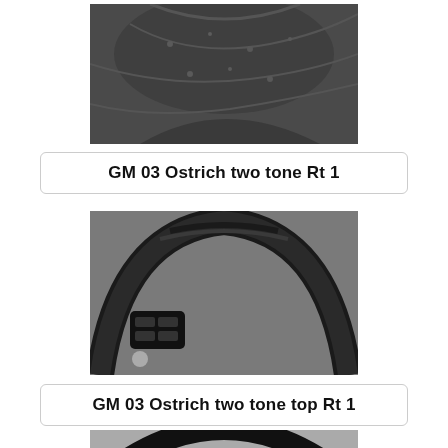[Figure (photo): Close-up photo of a black leather steering wheel grip section showing ostrich two-tone texture]
GM 03 Ostrich two tone Rt 1
[Figure (photo): Photo of a black steering wheel with control buttons on the left spoke, showing ostrich two-tone top section]
GM 03 Ostrich two tone top Rt 1
[Figure (photo): Partial photo of a black steering wheel rim against dark background, partially cropped at page bottom]